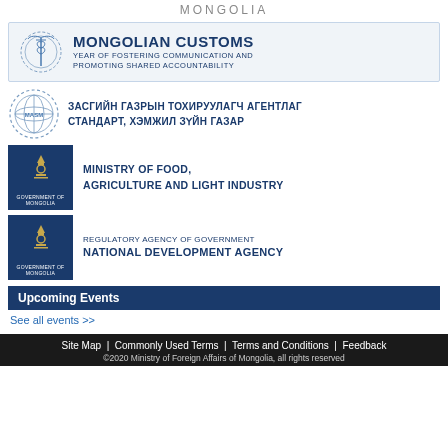MONGOLIA
[Figure (logo): Mongolian Customs banner with customs emblem logo, title MONGOLIAN CUSTOMS, subtitle YEAR OF FOSTERING COMMUNICATION AND PROMOTING SHARED ACCOUNTABILITY]
[Figure (logo): MASM globe logo with Mongolian text: ЗАСГИЙН ГАЗРЫН ТОХИРУУЛАГЧ АГЕНТЛАГ СТАНДАРТ, ХЭМЖИЛ ЗҮЙН ГАЗАР]
[Figure (logo): Government of Mongolia blue square logo for MINISTRY OF FOOD, AGRICULTURE AND LIGHT INDUSTRY]
[Figure (logo): Government of Mongolia blue square logo for REGULATORY AGENCY OF GOVERNMENT NATIONAL DEVELOPMENT AGENCY]
Upcoming Events
See all events >>
Site Map  |  Commonly Used Terms  |  Terms and Conditions  |  Feedback
©2020 Ministry of Foreign Affairs of Mongolia, all rights reserved